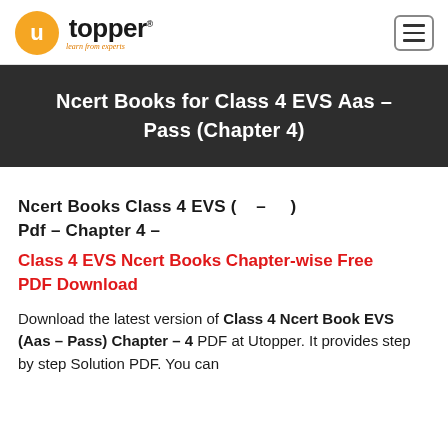Utopper — learn from experts
Ncert Books for Class 4 EVS Aas – Pass (Chapter 4)
Ncert Books Class 4 EVS ( – ) Pdf – Chapter 4 –
Class 4 EVS Ncert Books Chapter-wise Free PDF Download
Download the latest version of Class 4 Ncert Book EVS (Aas – Pass) Chapter – 4 PDF at Utopper. It provides step by step Solution PDF. You can